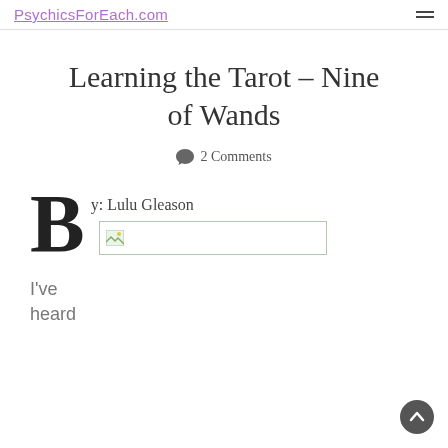PsychicsForEach.com
Learning the Tarot – Nine of Wands
💬 2 Comments
By: Lulu Gleason
[Figure (photo): Broken/missing image placeholder]
I've heard